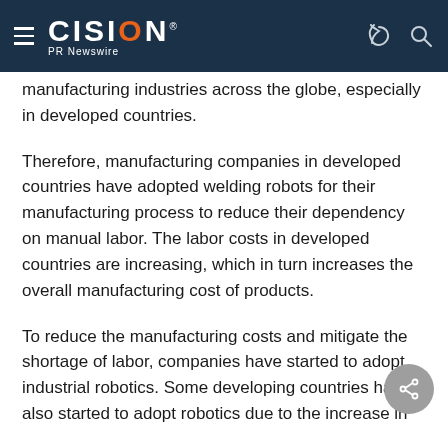CISION PR Newswire
manufacturing industries across the globe, especially in developed countries.
Therefore, manufacturing companies in developed countries have adopted welding robots for their manufacturing process to reduce their dependency on manual labor. The labor costs in developed countries are increasing, which in turn increases the overall manufacturing cost of products.
To reduce the manufacturing costs and mitigate the shortage of labor, companies have started to adopt industrial robotics. Some developing countries have also started to adopt robotics due to the increase in